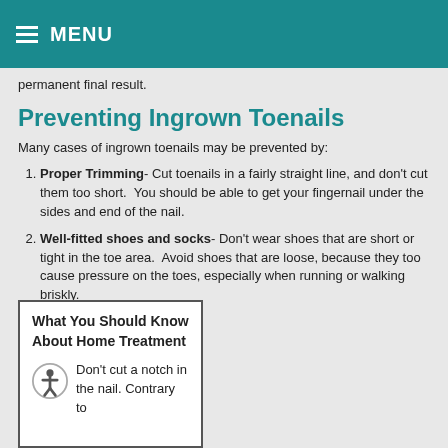MENU
permanent final result.
Preventing Ingrown Toenails
Many cases of ingrown toenails may be prevented by:
Proper Trimming- Cut toenails in a fairly straight line, and don't cut them too short. You should be able to get your fingernail under the sides and end of the nail.
Well-fitted shoes and socks- Don't wear shoes that are short or tight in the toe area. Avoid shoes that are loose, because they too cause pressure on the toes, especially when running or walking briskly.
What You Should Know About Home Treatment

Don't cut a notch in the nail. Contrary to